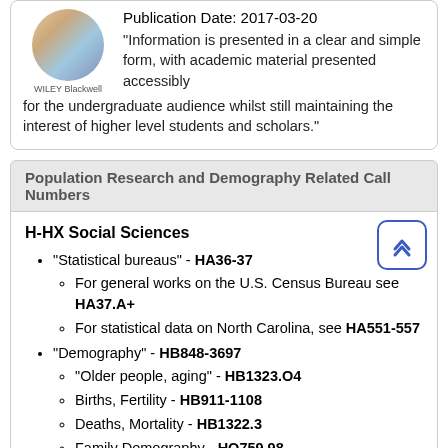Publication Date: 2017-03-20
"Information is presented in a clear and simple form, with academic material presented accessibly for the undergraduate audience whilst still maintaining the interest of higher level students and scholars."
Population Research and Demography Related Call Numbers
H-HX Social Sciences
"Statistical bureaus" - HA36-37
For general works on the U.S. Census Bureau see HA37.A+
For statistical data on North Carolina, see HA551-557
"Demography" - HB848-3697
"Older people, aging" - HB1323.O4
Births, Fertility - HB911-1108
Deaths, Mortality - HB1322.3
Family Demography - HQ759.98
"Immigration" - JV6201-6347
"Population Forecasting" - HB849.53